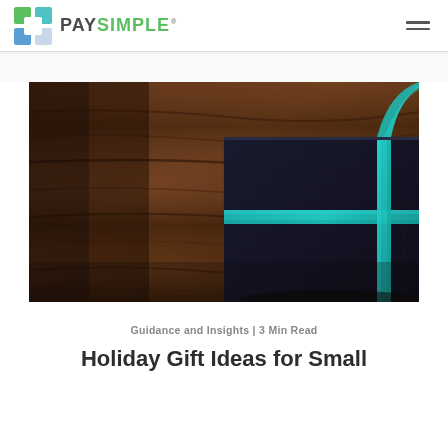PAYSIMPLE
[Figure (photo): A dark navy/black gift box wrapped with a teal/turquoise ribbon, placed on a worn wooden surface. The box sits in the right-center of the frame against a background of rich dark wood grain.]
Guidance and Insights | 3 Min Read
Holiday Gift Ideas for Small